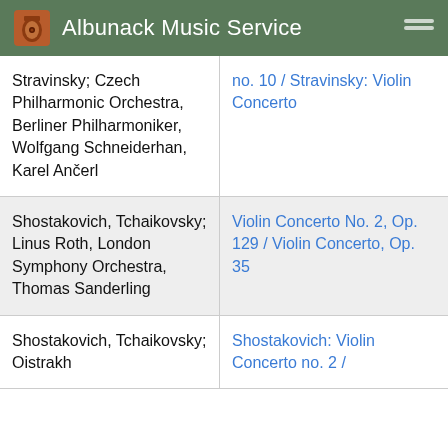Albunack Music Service
| Artist/Orchestra | Album Title |
| --- | --- |
| Stravinsky; Czech Philharmonic Orchestra, Berliner Philharmoniker, Wolfgang Schneiderhan, Karel Ančerl | no. 10 / Stravinsky: Violin Concerto |
| Shostakovich, Tchaikovsky; Linus Roth, London Symphony Orchestra, Thomas Sanderling | Violin Concerto No. 2, Op. 129 / Violin Concerto, Op. 35 |
| Shostakovich, Tchaikovsky; Oistrakh | Shostakovich: Violin Concerto no. 2 / |